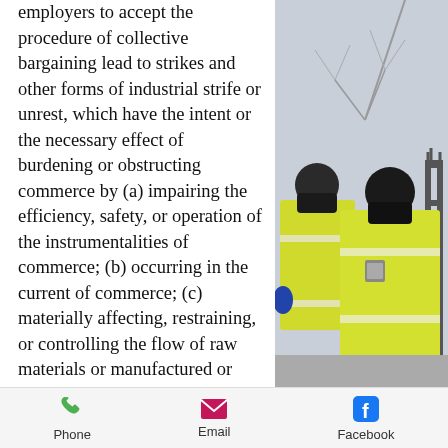employers to accept the procedure of collective bargaining lead to strikes and other forms of industrial strife or unrest, which have the intent or the necessary effect of burdening or obstructing commerce by (a) impairing the efficiency, safety, or operation of the instrumentalities of commerce; (b) occurring in the current of commerce; (c) materially affecting, restraining, or controlling the flow of raw materials or manufactured or processed goods from or into the channels of commerce, or the prices of such materials or goods in commerce; or (d) causing diminution of employment and wages in such volume as substantially to impair or disrupt the market for goods flowing from or into the channels of commerce.
[Figure (photo): Photograph of two police officers in yellow high-visibility jackets and black face masks standing near iron railings with bare winter trees in the background.]
Phone   Email   Facebook